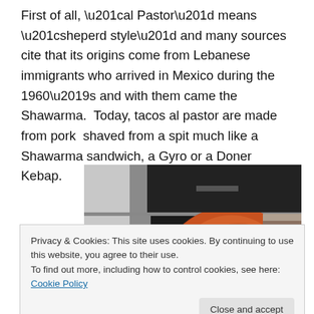First of all, “al Pastor” means “sheperd style” and many sources cite that its origins come from Lebanese immigrants who arrived in Mexico during the 1960’s and with them came the Shawarma.  Today, tacos al pastor are made from pork  shaved from a spit much like a Shawarma sandwich, a Gyro or a Doner Kebap.
[Figure (photo): Photo of a large spit of al pastor pork meat rotating in a dark kitchen/restaurant setting, with metal equipment visible in the background.]
Privacy & Cookies: This site uses cookies. By continuing to use this website, you agree to their use.
To find out more, including how to control cookies, see here: Cookie Policy
Close and accept